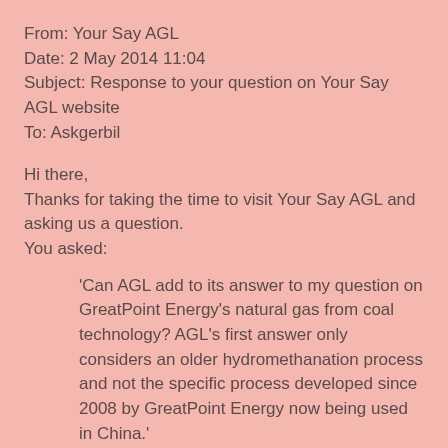From:  Your Say AGL
Date: 2 May 2014 11:04
Subject: Response to your question on Your Say AGL website
To:  Askgerbil
Hi there,
Thanks for taking the time to visit Your Say AGL and asking us a question.
You asked:
'Can AGL add to its answer to my question on GreatPoint Energy's natural gas from coal technology? AGL's first answer only considers an older hydromethanation process and not the specific process developed since 2008 by GreatPoint Energy now being used in China.'
Our response has now been posted on the site.
Our response: